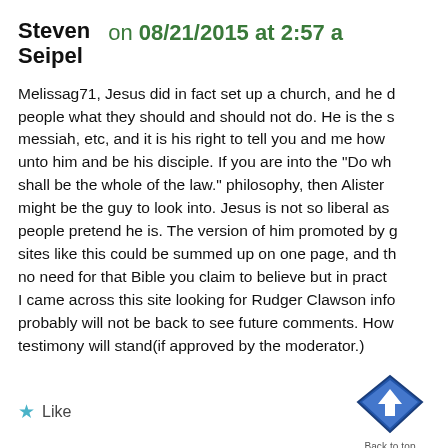Steven Seipel on 08/21/2015 at 2:57 am
Melissag71, Jesus did in fact set up a church, and he did tell people what they should and should not do. He is the messiah, etc, and it is his right to tell you and me how to come unto him and be his disciple. If you are into the “Do what thou wilt shall be the whole of the law.” philosophy, then Alister Crowley might be the guy to look into. Jesus is not so liberal as some people pretend he is. The version of him promoted by gay sites like this could be summed up on one page, and there is no need for that Bible you claim to believe but in practice I came across this site looking for Rudger Clawson info and probably will not be back to see future comments. However my testimony will stand(if approved by the moderator.)
Like
[Figure (illustration): Blue diamond-shaped back-to-top button with upward arrow and 'Back to top' label]